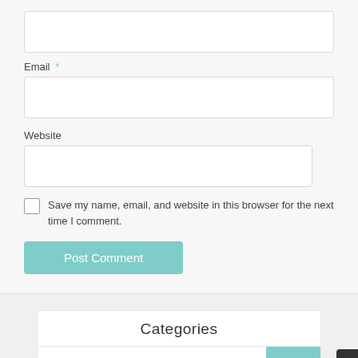[Figure (screenshot): Empty text input box at the top of a comment form]
Email *
[Figure (screenshot): Empty email input text box]
Website
[Figure (screenshot): Empty website input text box]
Save my name, email, and website in this browser for the next time I comment.
[Figure (screenshot): Post Comment button in teal color]
Categories
Gold diamonds
150